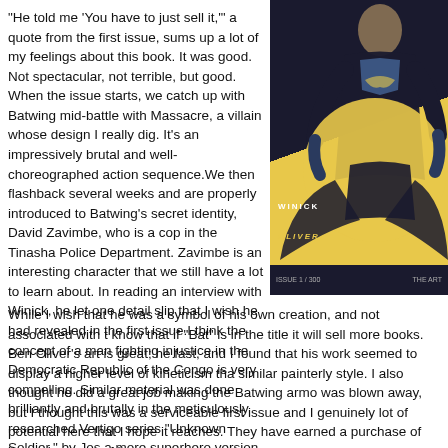"He told me 'You have to just sell it,'" a quote from the first issue, sums up a lot of my feelings about this book. It was good. Not spectacular, not terrible, but good. When the issue starts, we catch up with Batwing mid-battle with Massacre, a villain whose design I really dig. It's an impressively brutal and well-choreographed action sequence.We then flashback several weeks and are properly introduced to Batwing's secret identity, David Zavimbe, who is a cop in the Tinasha Police Department. Zavimbe is an interesting character that we still have a lot to learn about. In reading an interview with Winick, he let one detail slip that I wish he had revealed in the first issue.I think the concept of a man fighting injustice in the Democratic Republic of the Congo is very compelling. Similar material was done brilliantly and brutally in the meticulously researched Vertigo series "Unknown Soldier," by Jos a more superhero version of the material.
[Figure (illustration): Comic book cover illustration showing the Batwing character in dark armor against a yellow/gold circular background, with the creator credits WINICK and OLIVER visible]
While I wish that he was a symbol of his own creation, and not associated with t know that if "Bat" is in the title it will sell more books. Ben Oliver's art is great; he fast, and I found that his work seemed to display a higher level of kineticism tha similar painterly style. I also thought he did a great job making the Batwing armo was blown away, but I thought this was a serviceable first issue and I genuinely lot of potential here that I hope it reaches. They have earned a purchase of issu advantage of it.